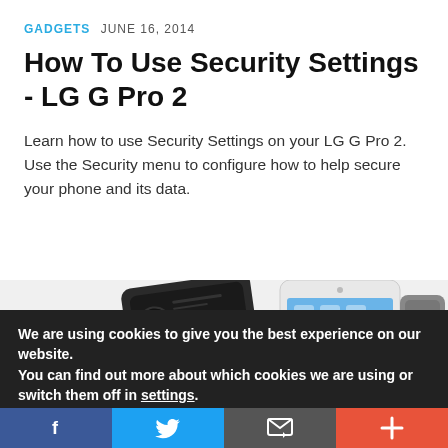GADGETS JUNE 16, 2014
How To Use Security Settings - LG G Pro 2
Learn how to use Security Settings on your LG G Pro 2. Use the Security menu to configure how to help secure your phone and its data.
[Figure (photo): Three LG G Pro 2 smartphones shown from the back and front, in dark and light colors]
We are using cookies to give you the best experience on our website.
You can find out more about which cookies we are using or switch them off in settings.
[Figure (infographic): Social sharing bar with Facebook, Twitter, Email, and Plus buttons]